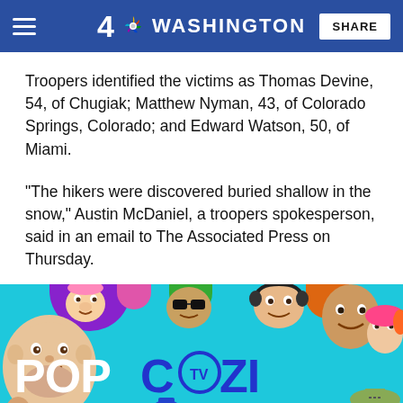4 NBC WASHINGTON  SHARE
Troopers identified the victims as Thomas Devine, 54, of Chugiak; Matthew Nyman, 43, of Colorado Springs, Colorado; and Edward Watson, 50, of Miami.
“The hikers were discovered buried shallow in the snow,” Austin McDaniel, a troopers spokesperson, said in an email to The Associated Press on Thursday.
[Figure (illustration): Colorful TV advertisement banner for 'POP COZI TV CULTURE HITS' showing cartoon faces of various people on a teal/cyan background]